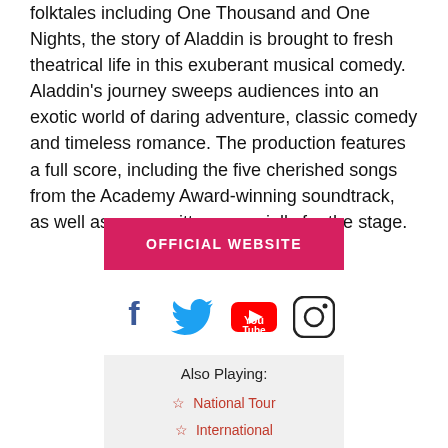folktales including One Thousand and One Nights, the story of Aladdin is brought to fresh theatrical life in this exuberant musical comedy. Aladdin's journey sweeps audiences into an exotic world of daring adventure, classic comedy and timeless romance. The production features a full score, including the five cherished songs from the Academy Award-winning soundtrack, as well as more written especially for the stage.
OFFICIAL WEBSITE
[Figure (infographic): Social media icons: Facebook, Twitter, YouTube, Instagram]
Also Playing: ☆ National Tour ☆ International